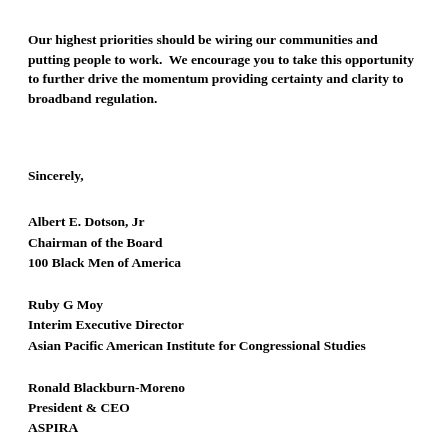Our highest priorities should be wiring our communities and putting people to work.  We encourage you to take this opportunity to further drive the momentum providing certainty and clarity to broadband regulation.
Sincerely,
Albert E. Dotson, Jr
Chairman of the Board
100 Black Men of America
Ruby G Moy
Interim Executive Director
Asian Pacific American Institute for Congressional Studies
Ronald Blackburn-Moreno
President & CEO
ASPIRA